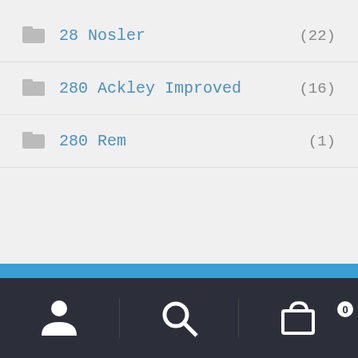28 Nosler (22)
280 Ackley Improved (16)
280 Rem (1)
Firearms ship free, all others $10.95/order. Due to high demand shipping is running 2-3 weeks on some products. All sales are FINAL, no changes or cancellations possible. Carefully read our terms and conditions before checkout. Dismiss
Navigation bar with user, search, and cart icons